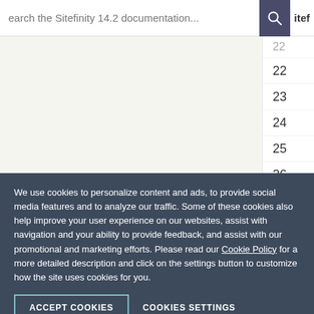Search the Sitefinity 14.2 documentation...
| # |
| --- |
| 22 |
| 22 |
| 23 |
| 24 |
| 25 |
| 26 |
| 27 |
| 28 |
| 29 |
We use cookies to personalize content and ads, to provide social media features and to analyze our traffic. Some of these cookies also help improve your user experience on our websites, assist with navigation and your ability to provide feedback, and assist with our promotional and marketing efforts. Please read our Cookie Policy for a more detailed description and click on the settings button to customize how the site uses cookies for you.
ACCEPT COOKIES   COOKIES SETTINGS